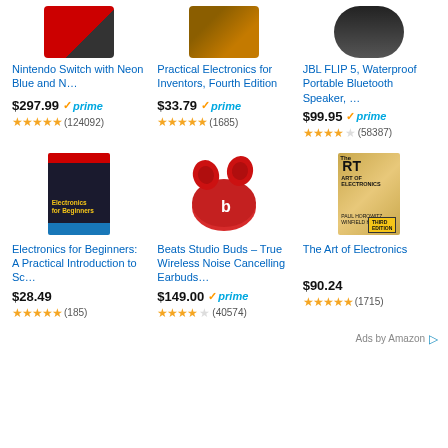[Figure (photo): Nintendo Switch with red Joy-Con partial product image cropped at top]
[Figure (photo): Practical Electronics for Inventors book cover showing circuit board, partial image cropped at top]
[Figure (photo): JBL FLIP 5 Waterproof Portable Bluetooth Speaker partial image cropped at top]
Nintendo Switch with Neon Blue and N…
$297.99 ✓prime ★★★★★ (124092)
Practical Electronics for Inventors, Fourth Edition
$33.79 ✓prime ★★★★★ (1685)
JBL FLIP 5, Waterproof Portable Bluetooth Speaker, …
$99.95 ✓prime ★★★★☆ (58387)
[Figure (photo): Electronics for Beginners book cover with dark blue/black background and yellow title text]
[Figure (photo): Beats Studio Buds red true wireless earbuds in charging case]
[Figure (photo): The Art of Electronics book cover with golden/tan color]
Electronics for Beginners: A Practical Introduction to Sc…
$28.49 ★★★★★ (185)
Beats Studio Buds – True Wireless Noise Cancelling Earbuds…
$149.00 ✓prime ★★★★☆ (40574)
The Art of Electronics
$90.24 ★★★★★ (1715)
Ads by Amazon ▷